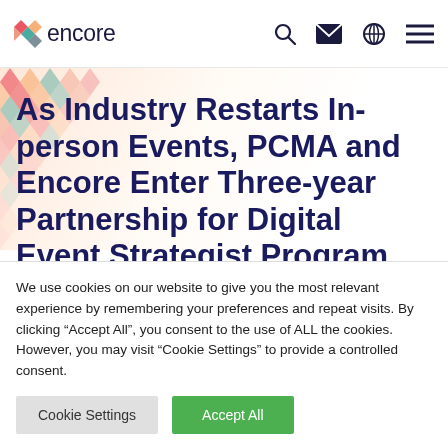encore [logo with navigation icons: search, email, globe, menu]
As Industry Restarts In-person Events, PCMA and Encore Enter Three-year Partnership for Digital Event Strategist Program
We use cookies on our website to give you the most relevant experience by remembering your preferences and repeat visits. By clicking “Accept All”, you consent to the use of ALL the cookies. However, you may visit “Cookie Settings” to provide a controlled consent.